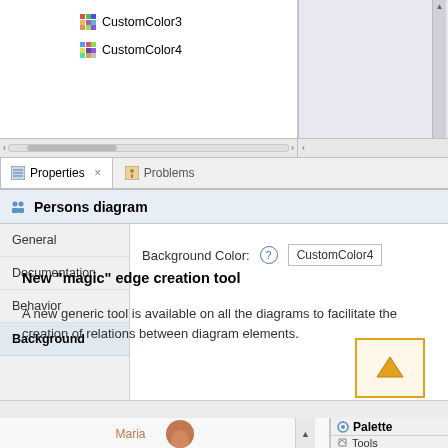[Figure (screenshot): Software IDE showing file tree with CustomColor3 and CustomColor4 items, a Properties panel showing Persons diagram background color set to CustomColor4 with General/Documentation/Behavior/Background tabs, and a bottom area showing a diagram with Maria and Palette/Tools panels]
New "magic" edge creation tool
A new generic tool is available on all the diagrams to facilitate the creation of relations between diagram elements.